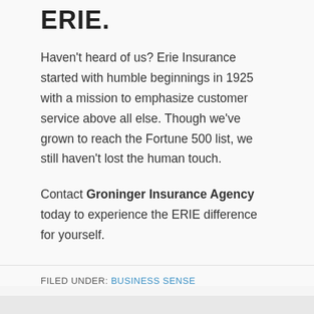ERIE.
Haven't heard of us? Erie Insurance started with humble beginnings in 1925 with a mission to emphasize customer service above all else. Though we've grown to reach the Fortune 500 list, we still haven't lost the human touch.
Contact Groninger Insurance Agency today to experience the ERIE difference for yourself.
FILED UNDER: BUSINESS SENSE